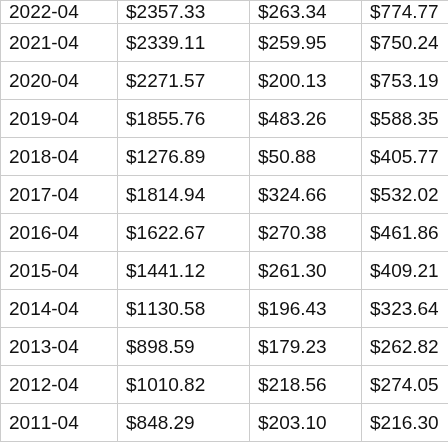| 2022-04 | $2357.33 | $263.34 | $774.77 | $317.38 |
| 2021-04 | $2339.11 | $259.95 | $750.24 | $884.09 |
| 2020-04 | $2271.57 | $200.13 | $753.19 | $907.51 |
| 2019-04 | $1855.76 | $483.26 | $588.35 | $629.22 |
| 2018-04 | $1276.89 | $50.88 | $405.77 | $583.24 |
| 2017-04 | $1814.94 | $324.66 | $532.02 | $522.40 |
| 2016-04 | $1622.67 | $270.38 | $461.86 | $471.14 |
| 2015-04 | $1441.12 | $261.30 | $409.21 | $395.68 |
| 2014-04 | $1130.58 | $196.43 | $323.64 | $303.18 |
| 2013-04 | $898.59 | $179.23 | $262.82 | $289.40 |
| 2012-04 | $1010.82 | $218.56 | $274.05 | $271.21 |
| 2011-04 | $848.29 | $203.10 | $216.30 | $179.46 |